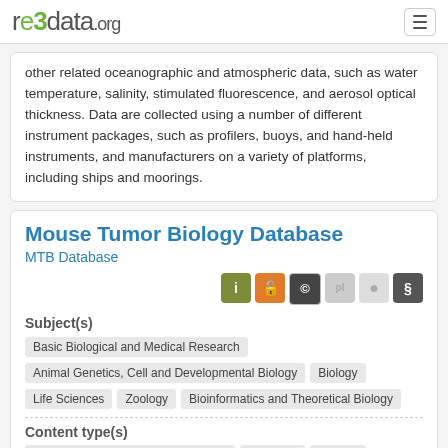re3data.org
other related oceanographic and atmospheric data, such as water temperature, salinity, stimulated fluorescence, and aerosol optical thickness. Data are collected using a number of different instrument packages, such as profilers, buoys, and hand-held instruments, and manufacturers on a variety of platforms, including ships and moorings.
Mouse Tumor Biology Database
MTB Database
Subject(s)
Basic Biological and Medical Research
Animal Genetics, Cell and Developmental Biology
Biology
Life Sciences
Zoology
Bioinformatics and Theoretical Biology
Content type(s)
Scientific and statistical data formats
Plain text
Images